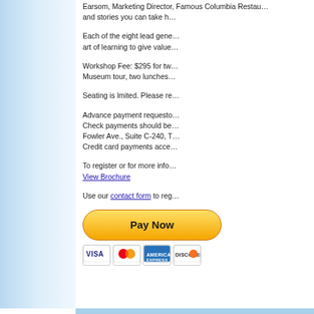Earsom, Marketing Director, Famous Columbia Restaurant, and stories you can take h…
Each of the eight lead gene… art of learning to give value…
Workshop Fee: $295 for tw… Museum tour, two lunches…
Seating is lmited. Please re…
Advance payment requesto… Check payments should be… Fowler Ave., Suite C-240, T… Credit card payments acce…
To register or for more info… View Brochure
Use our contact form to reg…
[Figure (other): PayPal Pay Now button with VISA, Mastercard, American Express, and Discover card icons below]